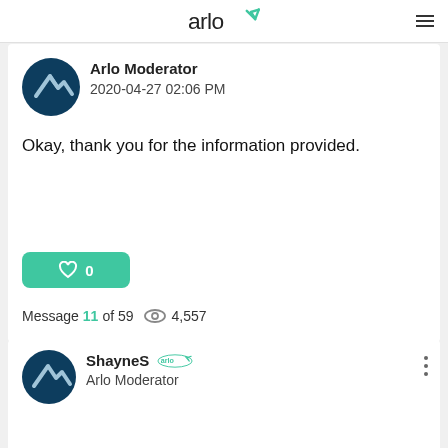arlo
Arlo Moderator
2020-04-27 02:06 PM
Okay, thank you for the information provided.
♡ 0
Message 11 of 59  👁 4,557
ShayneS  Arlo Moderator